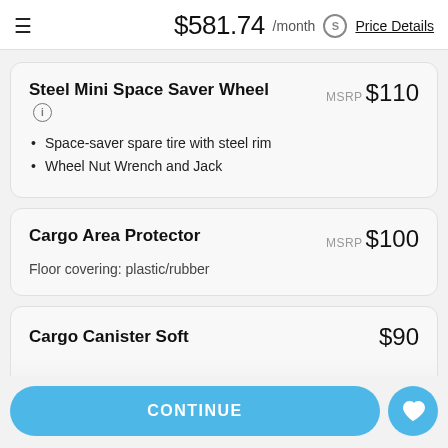$581.74 /month  Price Details
Steel Mini Space Saver Wheel
MSRP $110
Space-saver spare tire with steel rim
Wheel Nut Wrench and Jack
Cargo Area Protector
MSRP $100
Floor covering: plastic/rubber
Cargo Canister Soft ...
$90